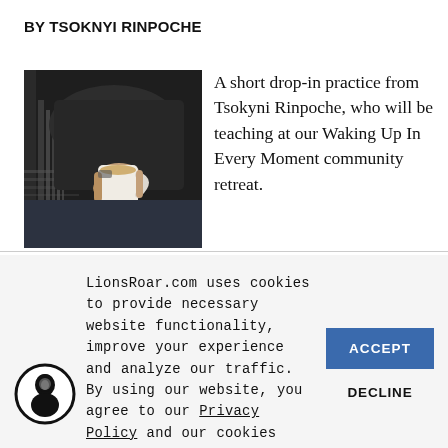BY TSOKNYI RINPOCHE
[Figure (photo): A person holding a white ceramic cup/mug with tea, dark moody background with striped light shadows]
A short drop-in practice from Tsokyni Rinpoche, who will be teaching at our Waking Up In Every Moment community retreat.
LionsRoar.com uses cookies to provide necessary website functionality, improve your experience and analyze our traffic. By using our website, you agree to our Privacy Policy and our cookies usage.
ACCEPT
DECLINE